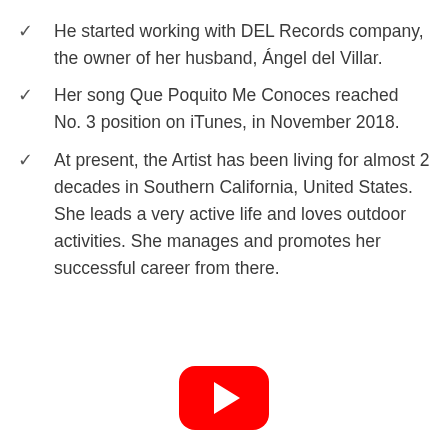He started working with DEL Records company, the owner of her husband, Ángel del Villar.
Her song Que Poquito Me Conoces reached No. 3 position on iTunes, in November 2018.
At present, the Artist has been living for almost 2 decades in Southern California, United States. She leads a very active life and loves outdoor activities. She manages and promotes her successful career from there.
[Figure (logo): YouTube play button logo in red with white triangle]